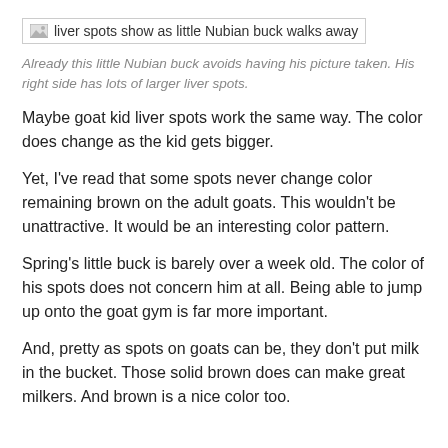[Figure (photo): Broken/missing image icon with alt text: liver spots show as little Nubian buck walks away]
Already this little Nubian buck avoids having his picture taken. His right side has lots of larger liver spots.
Maybe goat kid liver spots work the same way. The color does change as the kid gets bigger.
Yet, I've read that some spots never change color remaining brown on the adult goats. This wouldn't be unattractive. It would be an interesting color pattern.
Spring's little buck is barely over a week old. The color of his spots does not concern him at all. Being able to jump up onto the goat gym is far more important.
And, pretty as spots on goats can be, they don't put milk in the bucket. Those solid brown does can make great milkers. And brown is a nice color too.